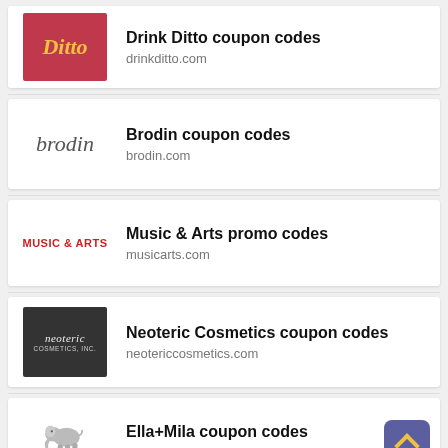Drink Ditto coupon codes
drinkditto.com
Brodin coupon codes
brodin.com
Music & Arts promo codes
musicarts.com
Neoteric Cosmetics coupon codes
neotericcosmetics.com
Ella+Mila coupon codes
www.ellamila.com